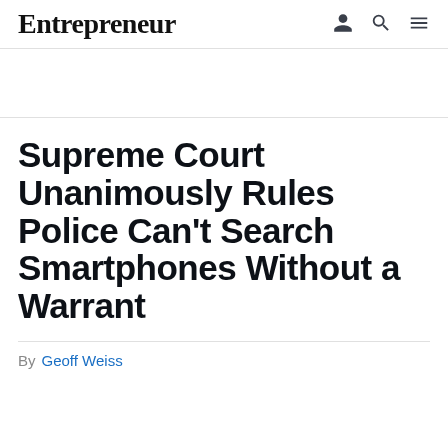Entrepreneur
Supreme Court Unanimously Rules Police Can't Search Smartphones Without a Warrant
By Geoff Weiss